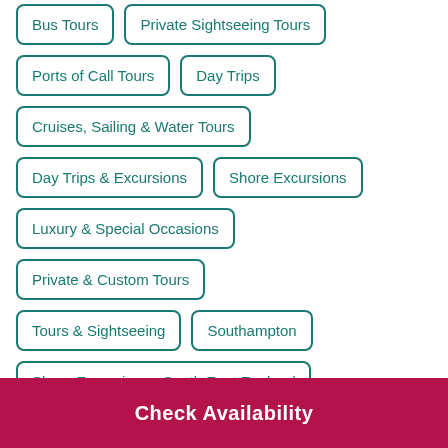Bus Tours
Private Sightseeing Tours
Ports of Call Tours
Day Trips
Cruises, Sailing & Water Tours
Day Trips & Excursions
Shore Excursions
Luxury & Special Occasions
Private & Custom Tours
Tours & Sightseeing
Southampton
Shore Excursions - South East England
Check Availability